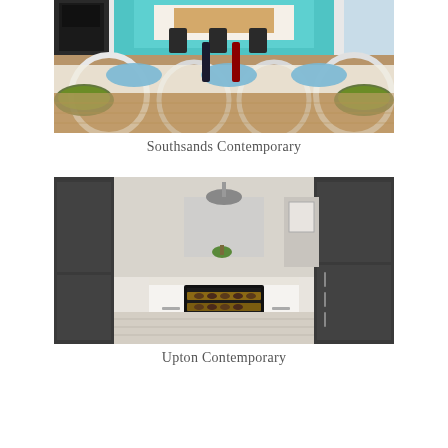[Figure (photo): Interior photo of a modern dining/kitchen area called Southsands Contemporary, featuring white chairs, blue plates, wine bottles, green salad bowls, and a sleek kitchen in the background.]
Southsands Contemporary
[Figure (photo): Interior photo of a modern kitchen called Upton Contemporary, featuring dark grey cabinetry, white island with wine cooler, pendant lighting, and light wood flooring.]
Upton Contemporary